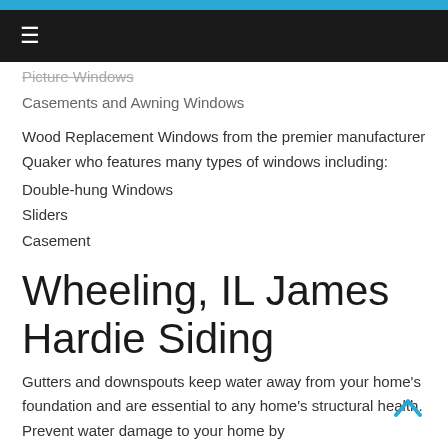Picture Windows
Casements and Awning Windows
Wood Replacement Windows from the premier manufacturer Quaker who features many types of windows including:
Double-hung Windows
Sliders
Casement
Wheeling, IL James Hardie Siding
Gutters and downspouts keep water away from your home's foundation and are essential to any home's structural health. Prevent water damage to your home by taking care of your gutters. Notice...